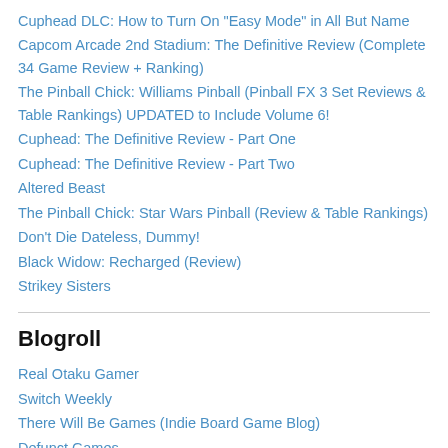Cuphead DLC: How to Turn On "Easy Mode" in All But Name
Capcom Arcade 2nd Stadium: The Definitive Review (Complete 34 Game Review + Ranking)
The Pinball Chick: Williams Pinball (Pinball FX 3 Set Reviews & Table Rankings) UPDATED to Include Volume 6!
Cuphead: The Definitive Review - Part One
Cuphead: The Definitive Review - Part Two
Altered Beast
The Pinball Chick: Star Wars Pinball (Review & Table Rankings)
Don't Die Dateless, Dummy!
Black Widow: Recharged (Review)
Strikey Sisters
Blogroll
Real Otaku Gamer
Switch Weekly
There Will Be Games (Indie Board Game Blog)
Defunct Games